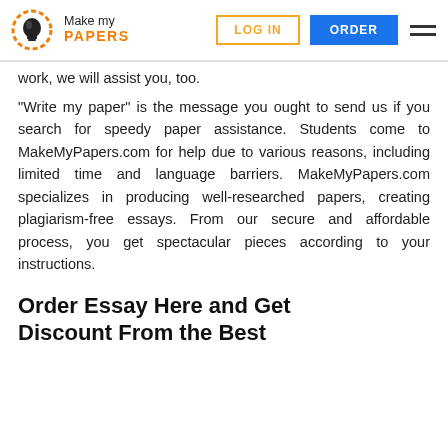Make my PAPERS | LOG IN | ORDER
work, we will assist you, too.
“Write my paper” is the message you ought to send us if you search for speedy paper assistance. Students come to MakeMyPapers.com for help due to various reasons, including limited time and language barriers. MakeMyPapers.com specializes in producing well-researched papers, creating plagiarism-free essays. From our secure and affordable process, you get spectacular pieces according to your instructions.
Order Essay Here and Get Discount From the Best